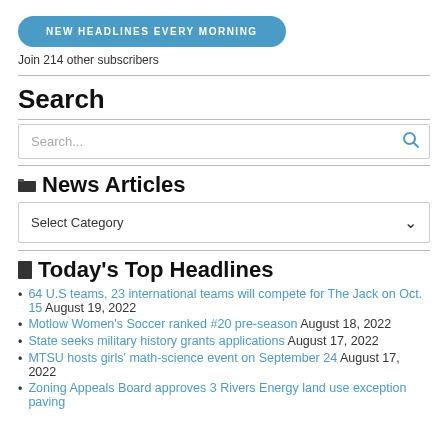[Figure (other): Blue rounded button with text NEW HEADLINES EVERY MORNING]
Join 214 other subscribers
Search
[Figure (other): Search input box with placeholder text Search... and a blue magnifying glass icon]
News Articles
[Figure (other): Select Category dropdown]
Today's Top Headlines
64 U.S teams, 23 international teams will compete for The Jack on Oct. 15 August 19, 2022
Motlow Women's Soccer ranked #20 pre-season August 18, 2022
State seeks military history grants applications August 17, 2022
MTSU hosts girls' math-science event on September 24 August 17, 2022
Zoning Appeals Board approves 3 Rivers Energy land use exception paving